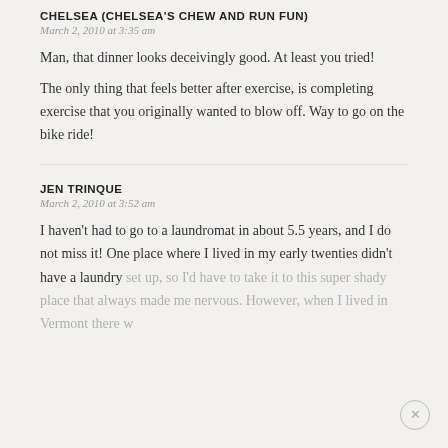CHELSEA (CHELSEA'S CHEW AND RUN FUN)
March 2, 2010 at 3:35 am
Man, that dinner looks deceivingly good. At least you tried!
The only thing that feels better after exercise, is completing exercise that you originally wanted to blow off. Way to go on the bike ride!
JEN TRINQUE
March 2, 2010 at 3:52 am
I haven't had to go to a laundromat in about 5.5 years, and I do not miss it! One place where I lived in my early twenties didn't have a laundry set up, so I'd have to take it to this super shady place that always made me nervous. However, when I lived in Vermont there w...